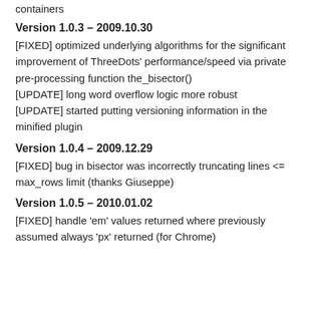containers
Version 1.0.3 – 2009.10.30
[FIXED] optimized underlying algorithms for the significant improvement of ThreeDots' performance/speed via private pre-processing function the_bisector()
[UPDATE] long word overflow logic more robust
[UPDATE] started putting versioning information in the minified plugin
Version 1.0.4 – 2009.12.29
[FIXED] bug in bisector was incorrectly truncating lines <= max_rows limit (thanks Giuseppe)
Version 1.0.5 – 2010.01.02
[FIXED] handle 'em' values returned where previously assumed always 'px' returned (for Chrome)